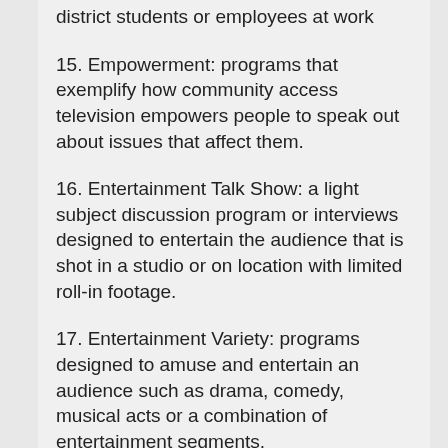district students or employees at work
15. Empowerment: programs that exemplify how community access television empowers people to speak out about issues that affect them.
16. Entertainment Talk Show: a light subject discussion program or interviews designed to entertain the audience that is shot in a studio or on location with limited roll-in footage.
17. Entertainment Variety: programs designed to amuse and entertain an audience such as drama, comedy, musical acts or a combination of entertainment segments.
18. Gay/Lesbian: programs created about subjects of interest or concern to Gay, Lesbian, or bisexual people.
19. Government Activities: videos that describe